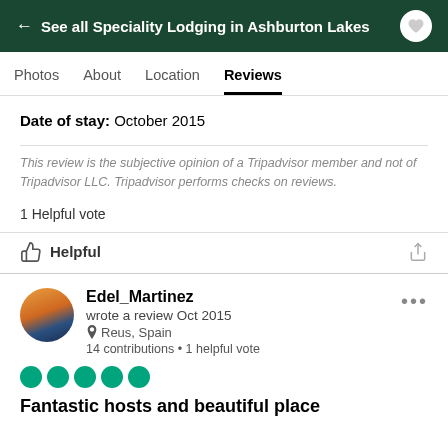← See all Speciality Lodging in Ashburton Lakes
Photos  About  Location  Reviews
Date of stay: October 2015
This review is the subjective opinion of a Tripadvisor member and not of Tripadvisor LLC. Tripadvisor performs checks on reviews.
1 Helpful vote
Helpful
Edel_Martinez
wrote a review Oct 2015
Reus, Spain
14 contributions • 1 helpful vote
Fantastic hosts and beautiful place